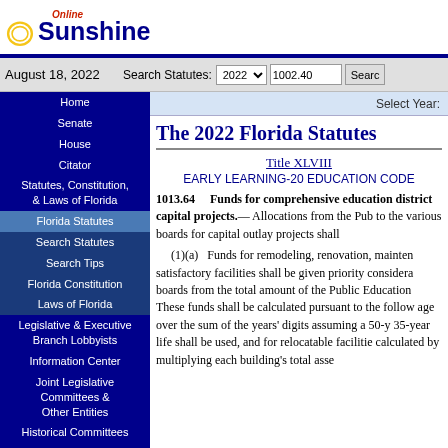Online Sunshine — Florida Legislature website header with logo
August 18, 2022   Search Statutes: 2022  1002.40  Search
Home
Senate
House
Citator
Statutes, Constitution, & Laws of Florida
Florida Statutes
Search Statutes
Search Tips
Florida Constitution
Laws of Florida
Legislative & Executive Branch Lobbyists
Information Center
Joint Legislative Committees & Other Entities
Historical Committees
Florida Government Efficiency Task Force
Legislative Employment
Legistore
Select Year:
The 2022 Florida Statutes
Title XLVIII
EARLY LEARNING-20 EDUCATION CODE
1013.64    Funds for comprehensive education district capital projects.— Allocations from the Public Education Capital Outlay and Debt Service Trust Fund to the various boards for capital outlay projects shall
(1)(a)  Funds for remodeling, renovation, maintenance, and repair of satisfactory facilities shall be given priority consideration by the various boards from the total amount of the Public Education Capital Outlay and Debt Service Trust Fund. These funds shall be calculated pursuant to the following formula: the sum of the age over the sum of the years' digits assuming a 50-year life for permanent facilities; however, a 35-year life shall be used, and for relocatable facilities the amounts shall be calculated by multiplying each building's total assessed